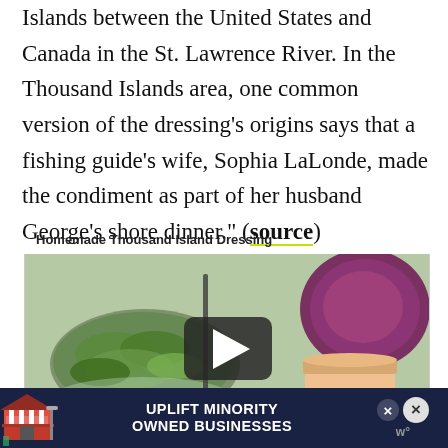Islands between the United States and Canada in the St. Lawrence River. In the Thousand Islands area, one common version of the dressing's origins says that a fishing guide's wife, Sophia LaLonde, made the condiment as part of her husband George's shore dinner." (source)
Homemade Thousand Island Dressing
[Figure (photo): Video thumbnail showing a bowl of salad greens and a jar of Thousand Island dressing being stirred, with a red onion in the background. A play button overlay is visible in the center.]
[Figure (infographic): Advertisement banner: 'UPLIFT MINORITY OWNED BUSINESSES' in bold white text on dark navy background, with a cartoon store illustration on the left and close buttons on the right.]